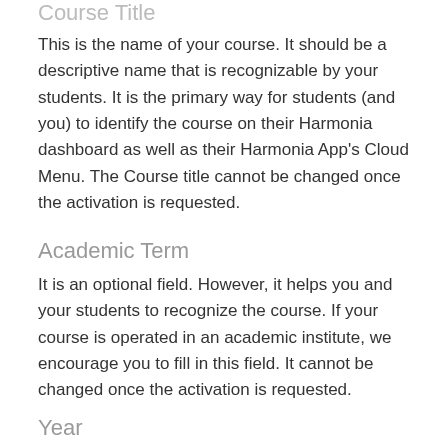Course Title
This is the name of your course. It should be a descriptive name that is recognizable by your students. It is the primary way for students (and you) to identify the course on their Harmonia dashboard as well as their Harmonia App's Cloud Menu. The Course title cannot be changed once the activation is requested.
Academic Term
It is an optional field. However, it helps you and your students to recognize the course. If your course is operated in an academic institute, we encourage you to fill in this field. It cannot be changed once the activation is requested.
Year
Similar to the above fields, this field...